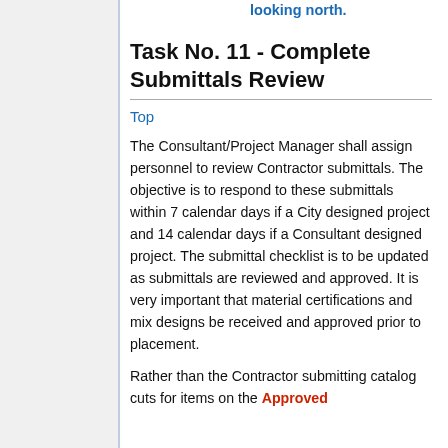looking north.
Task No. 11 - Complete Submittals Review
Top
The Consultant/Project Manager shall assign personnel to review Contractor submittals. The objective is to respond to these submittals within 7 calendar days if a City designed project and 14 calendar days if a Consultant designed project. The submittal checklist is to be updated as submittals are reviewed and approved. It is very important that material certifications and mix designs be received and approved prior to placement.
Rather than the Contractor submitting catalog cuts for items on the Approved